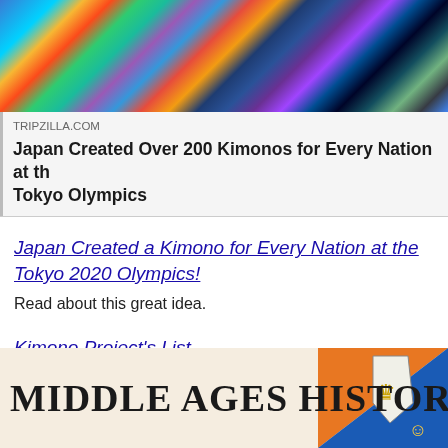[Figure (photo): Colorful kimono fabric patterns — top portion of a web article card from TRIPZILLA.COM]
TRIPZILLA.COM
Japan Created Over 200 Kimonos for Every Nation at the Tokyo Olympics
Japan Created a Kimono for Every Nation at the Tokyo 2020 Olympics!
Read about this great idea.
Kimono Project's List
Photos of all those gorgeous kimonos!
[Figure (logo): Middle Ages History banner with a shield graphic containing a lion and a student figure]